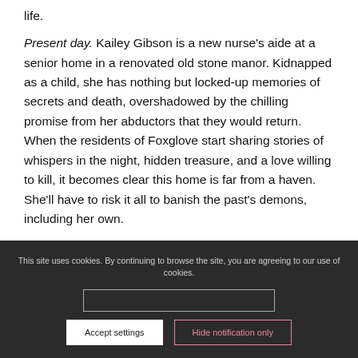life.
Present day. Kailey Gibson is a new nurse's aide at a senior home in a renovated old stone manor. Kidnapped as a child, she has nothing but locked-up memories of secrets and death, overshadowed by the chilling promise from her abductors that they would return. When the residents of Foxglove start sharing stories of whispers in the night, hidden treasure, and a love willing to kill, it becomes clear this home is far from a haven. She'll have to risk it all to banish the past's demons, including her own.
This site uses cookies. By continuing to browse the site, you are agreeing to our use of cookies.
Accept settings
Hide notification only